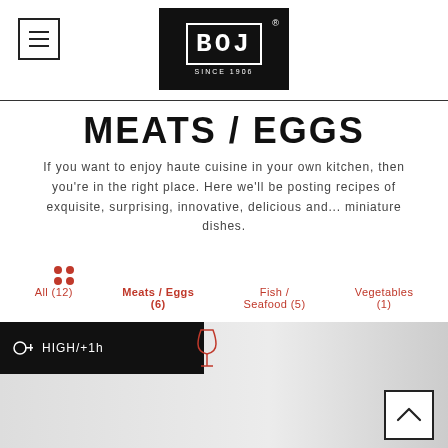[Figure (logo): BOJ restaurant logo with black background, white border box, letters BOJ in monospace, SINCE 1906 below, registered trademark symbol]
MEATS / EGGS
If you want to enjoy haute cuisine in your own kitchen, then you're in the right place. Here we'll be posting recipes of exquisite, surprising, innovative, delicious and... miniature dishes.
All (12)
Meats / Eggs (6)
Fish / Seafood (5)
Vegetables (1)
[Figure (photo): Food photo showing a plated dish with HIGH/+1h difficulty/time label overlay in black bar, wine glass icon beside it, back-to-top arrow button]